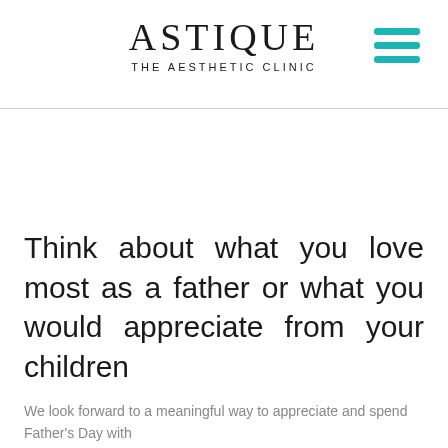ASTIQUE THE AESTHETIC CLINIC
Think about what you love most as a father or what you would appreciate from your children
We look forward to a meaningful way to appreciate and spend Father's Day with